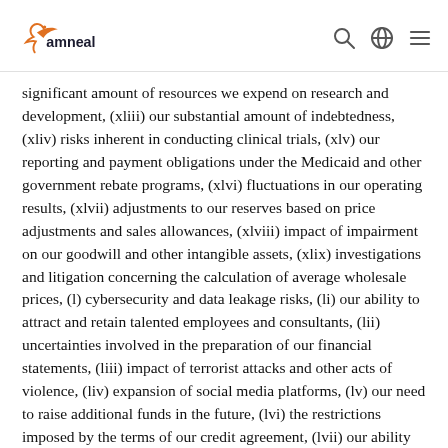amneal
significant amount of resources we expend on research and development, (xliii) our substantial amount of indebtedness, (xliv) risks inherent in conducting clinical trials, (xlv) our reporting and payment obligations under the Medicaid and other government rebate programs, (xlvi) fluctuations in our operating results, (xlvii) adjustments to our reserves based on price adjustments and sales allowances, (xlviii) impact of impairment on our goodwill and other intangible assets, (xlix) investigations and litigation concerning the calculation of average wholesale prices, (l) cybersecurity and data leakage risks, (li) our ability to attract and retain talented employees and consultants, (lii) uncertainties involved in the preparation of our financial statements, (liii) impact of terrorist attacks and other acts of violence, (liv) expansion of social media platforms, (lv) our need to raise additional funds in the future, (lvi) the restrictions imposed by the terms of our credit agreement, (lvii) our ability to generate sufficient